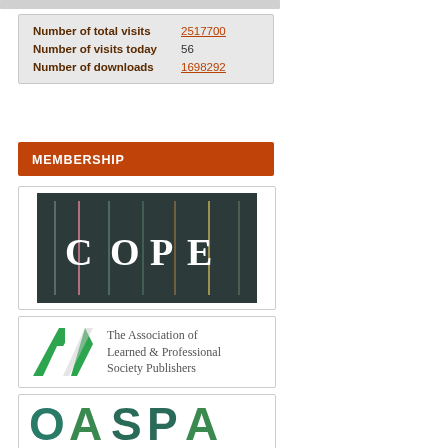| Metric | Value |
| --- | --- |
| Number of total visits | 2517700 |
| Number of visits today | 56 |
| Number of downloads | 1698292 |
MEMBERSHIP
[Figure (logo): COPE logo — dark background with colored vertical bars and the letters C O P E]
[Figure (logo): ALPSP logo — The Association of Learned & Professional Society Publishers, with a green angular bird/arrow mark]
[Figure (logo): OASPA logo — teal and green bold lettering spelling OASPA]